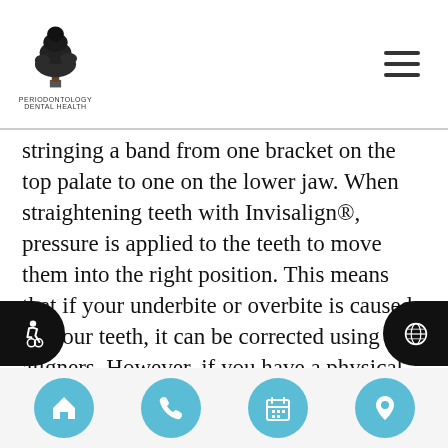Logo and navigation header
stringing a band from one bracket on the top palate to one on the lower jaw. When straightening teeth with Invisalign®, pressure is applied to the teeth to move them into the right position. This means that if your underbite or overbite is caused by your teeth, it can be corrected using aligners. However, if you have a physical problem with your jaw, you may need to have jaw surgery in addition to wearing your aligners. Another option for misaligned jaws, that cannot be fixed using aligners, is to wear traditional braces. When you visit our dental office, we will let you know if your bite problems can be solved with
Navigation bar with home, phone, calendar, and location icons